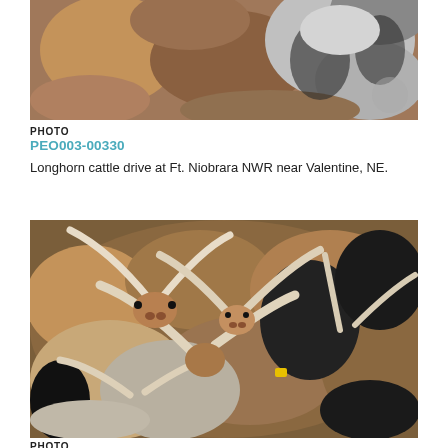[Figure (photo): Longhorn cattle drive at Ft. Niobrara NWR near Valentine, NE — close crop showing cattle from above/side]
PHOTO
PEO003-00330
Longhorn cattle drive at Ft. Niobrara NWR near Valentine, NE.
[Figure (photo): Dense crowd of longhorn cattle with prominent horns, close overhead view]
PHOTO